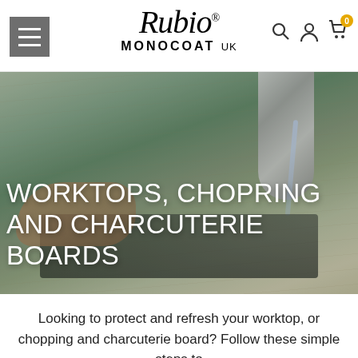Rubio Monocoat UK — navigation header with hamburger menu, logo, search, account, and cart icons
[Figure (photo): Hero image of kitchen worktop with chrome faucet running water, someone handling a green sponge near a stainless steel sink, with large white text overlay reading WORKTOPS, CHOPRING AND CHARCUTERIE BOARDS]
WORKTOPS, CHOPRING AND CHARCUTERIE BOARDS
Looking to protect and refresh your worktop, or chopping and charcuterie board? Follow these simple steps to